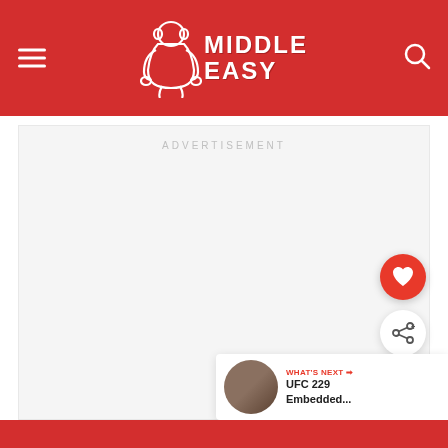Middle Easy
ADVERTISEMENT
[Figure (other): Red heart favorite button (floating action button)]
[Figure (other): Share floating action button]
WHAT'S NEXT → UFC 229 Embedded...